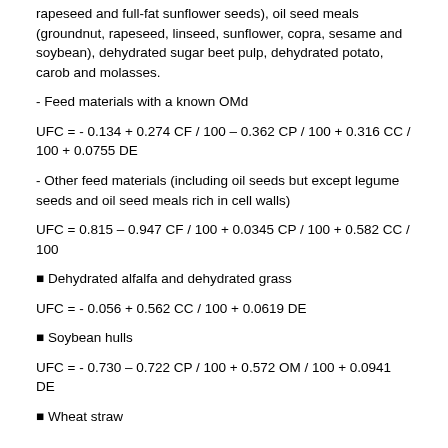rapeseed and full-fat sunflower seeds), oil seed meals (groundnut, rapeseed, linseed, sunflower, copra, sesame and soybean), dehydrated sugar beet pulp, dehydrated potato, carob and molasses.
- Feed materials with a known OMd
- Other feed materials (including oil seeds but except legume seeds and oil seed meals rich in cell walls)
● Dehydrated alfalfa and dehydrated grass
● Soybean hulls
● Wheat straw